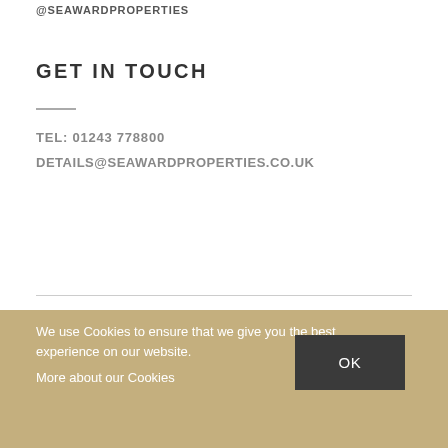@SEAWARDPROPERTIES
GET IN TOUCH
TEL: 01243 778800
DETAILS@SEAWARDPROPERTIES.CO.UK
We use Cookies to ensure that we give you the best experience on our website.
More about our Cookies
OK